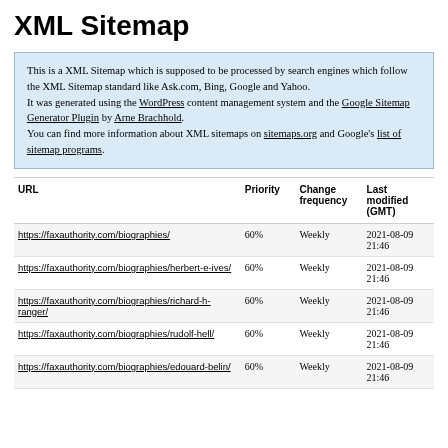XML Sitemap
This is a XML Sitemap which is supposed to be processed by search engines which follow the XML Sitemap standard like Ask.com, Bing, Google and Yahoo.
It was generated using the WordPress content management system and the Google Sitemap Generator Plugin by Arne Brachhold.
You can find more information about XML sitemaps on sitemaps.org and Google's list of sitemap programs.
| URL | Priority | Change frequency | Last modified (GMT) |
| --- | --- | --- | --- |
| https://faxauthority.com/biographies/ | 60% | Weekly | 2021-08-09 21:46 |
| https://faxauthority.com/biographies/herbert-e-ives/ | 60% | Weekly | 2021-08-09 21:46 |
| https://faxauthority.com/biographies/richard-h-ranger/ | 60% | Weekly | 2021-08-09 21:46 |
| https://faxauthority.com/biographies/rudolf-hell/ | 60% | Weekly | 2021-08-09 21:46 |
| https://faxauthority.com/biographies/edouard-belin/ | 60% | Weekly | 2021-08-09 21:46 |